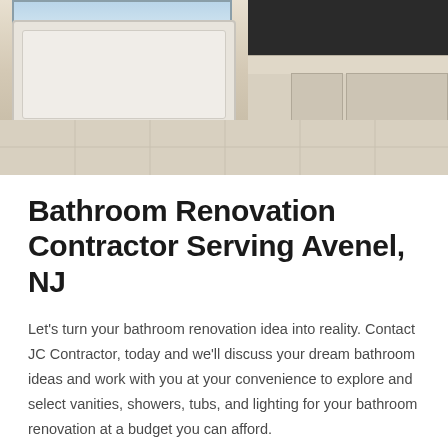[Figure (photo): Bathroom photo showing a white bathtub near a window on the left, and a vanity with white cabinets and countertop on the right, with light tile flooring.]
Bathroom Renovation Contractor Serving Avenel, NJ
Let's turn your bathroom renovation idea into reality. Contact JC Contractor, today and we'll discuss your dream bathroom ideas and work with you at your convenience to explore and select vanities, showers, tubs, and lighting for your bathroom renovation at a budget you can afford.